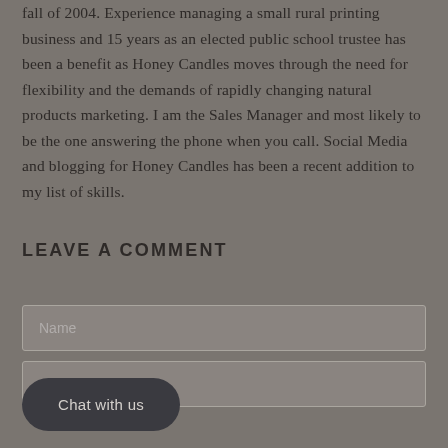fall of 2004. Experience managing a small rural printing business and 15 years as an elected public school trustee has been a benefit as Honey Candles moves through the need for flexibility and the demands of rapidly changing natural products marketing. I am the Sales Manager and most likely to be the one answering the phone when you call. Social Media and blogging for Honey Candles has been a recent addition to my list of skills.
LEAVE A COMMENT
[Figure (screenshot): A web form with a Name input field, a chat button labeled 'Chat with us', and an email input field on a grey background.]